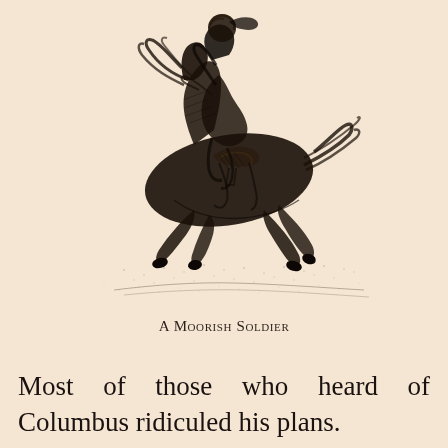[Figure (illustration): A black and white line drawing illustration of a Moorish soldier on horseback, galloping. The rider is wearing robes and a turban, and the horse is in full gallop with legs extended.]
A Moorish Soldier
Most of those who heard of Columbus ridiculed his plans.